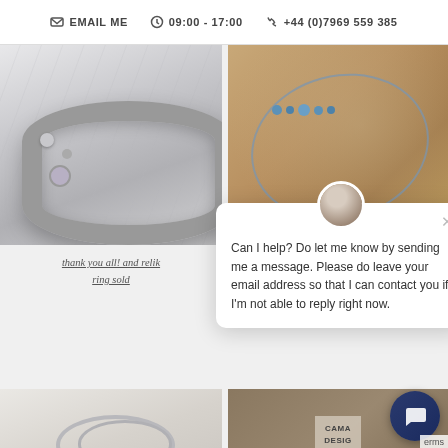EMAIL ME  09:00 - 17:00  +44 (0)7969 559 385
[Figure (photo): Silver ring with moonstone and decorative dots on marble background]
[Figure (photo): Blue gemstone necklace on sandy beach background]
thank you all! and relik ring sold
[Figure (screenshot): Chat popup with avatar showing message: Can I help? Do let me know by sending me a message. Please do leave your email address so that I can contact you if I'm not able to reply right now.]
[Figure (photo): Silver wire rings on white background]
[Figure (photo): Cama Design branded box with product]